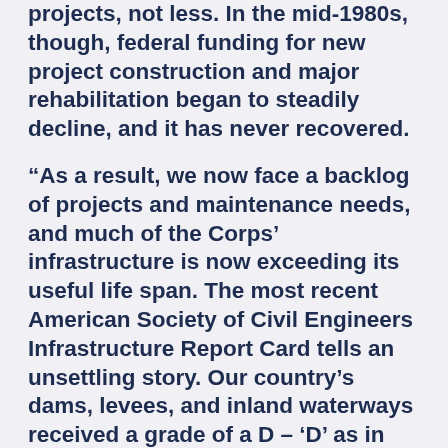projects, not less. In the mid-1980s, though, federal funding for new project construction and major rehabilitation began to steadily decline, and it has never recovered.
“As a result, we now face a backlog of projects and maintenance needs, and much of the Corps’ infrastructure is now exceeding its useful life span. The most recent American Society of Civil Engineers Infrastructure Report Card tells an unsettling story. Our country’s dams, levees, and inland waterways received a grade of a D – ‘D’ as in ‘dismal’ – representing a cumulative constructions and deferred maintenance backlog of more than $100 billion dollars.
“Clearly, our committee has important